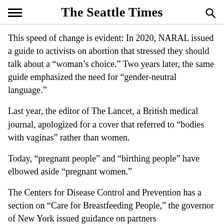The Seattle Times
This speed of change is evident: In 2020, NARAL issued a guide to activists on abortion that stressed they should talk about a “woman’s choice.” Two years later, the same guide emphasized the need for “gender-neutral language.”
Last year, the editor of The Lancet, a British medical journal, apologized for a cover that referred to “bodies with vaginas” rather than women.
Today, “pregnant people” and “bithing people” have elbowed aside “pregnant women.”
The Centers for Disease Control and Prevention has a section on “Care for Breastfeeding People,” the governor of New York issued guidance on partners